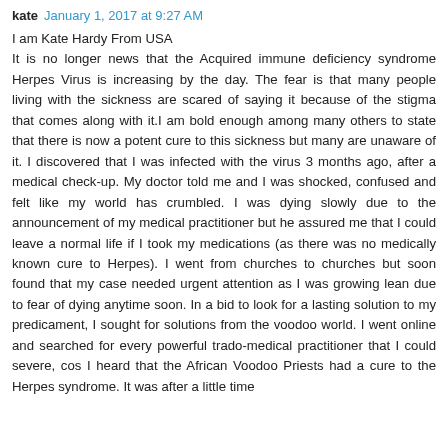kate  January 1, 2017 at 9:27 AM
I am Kate Hardy From USA
It is no longer news that the Acquired immune deficiency syndrome Herpes Virus is increasing by the day. The fear is that many people living with the sickness are scared of saying it because of the stigma that comes along with it.I am bold enough among many others to state that there is now a potent cure to this sickness but many are unaware of it. I discovered that I was infected with the virus 3 months ago, after a medical check-up. My doctor told me and I was shocked, confused and felt like my world has crumbled. I was dying slowly due to the announcement of my medical practitioner but he assured me that I could leave a normal life if I took my medications (as there was no medically known cure to Herpes). I went from churches to churches but soon found that my case needed urgent attention as I was growing lean due to fear of dying anytime soon. In a bid to look for a lasting solution to my predicament, I sought for solutions from the voodoo world. I went online and searched for every powerful trado-medical practitioner that I could severe, cos I heard that the African Voodoo Priests had a cure to the Herpes syndrome. It was after a little time